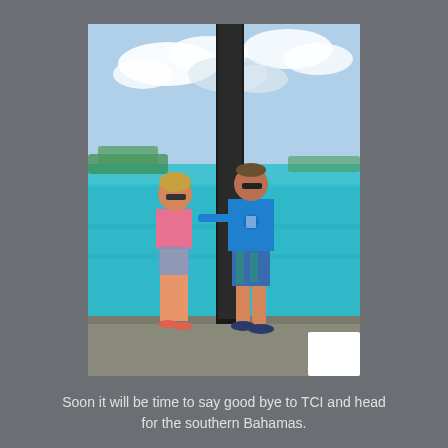[Figure (photo): Two people standing on a dock or boat platform next to a large dark cylindrical piling/post. The woman on the left wears a pink tank top, denim shorts, and pink sandals with sunglasses. The man on the right wears a blue t-shirt, patterned swim shorts, and navy shoes with sunglasses. The background shows turquoise Caribbean water and a distant shoreline with trees under a partly cloudy sky.]
Soon it will be time to say good bye to TCI and head for the southern Bahamas.